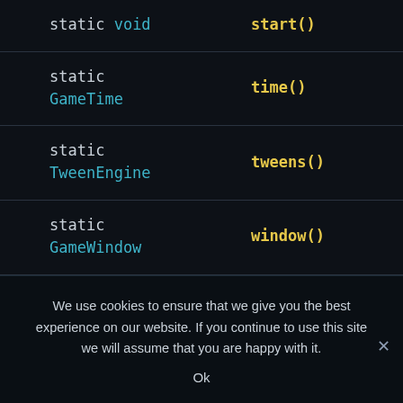| Modifier & Type | Method |
| --- | --- |
| static void | start() |
| static GameTime | time() |
| static TweenEngine | tweens() |
| static GameWindow | window() |
| static GameWorld | world() |
We use cookies to ensure that we give you the best experience on our website. If you continue to use this site we will assume that you are happy with it.
Ok